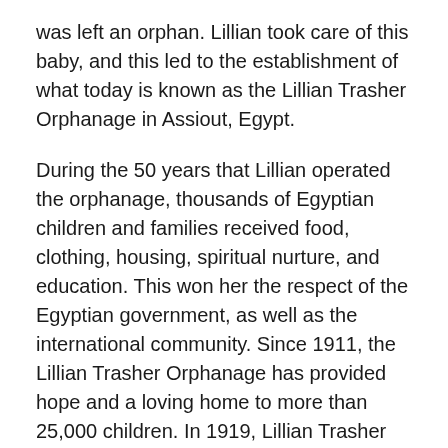was left an orphan. Lillian took care of this baby, and this led to the establishment of what today is known as the Lillian Trasher Orphanage in Assiout, Egypt.
During the 50 years that Lillian operated the orphanage, thousands of Egyptian children and families received food, clothing, housing, spiritual nurture, and education. This won her the respect of the Egyptian government, as well as the international community. Since 1911, the Lillian Trasher Orphanage has provided hope and a loving home to more than 25,000 children. In 1919, Lillian Trasher affiliated with the Assemblies of God. She previously held credentials as an evangelist with the Church of God (Cleveland, Tennessee). Because of her tireless work with orphans in Egypt, she is fondly remembered as “Mama Lillian” or “Mother of the Nile.”